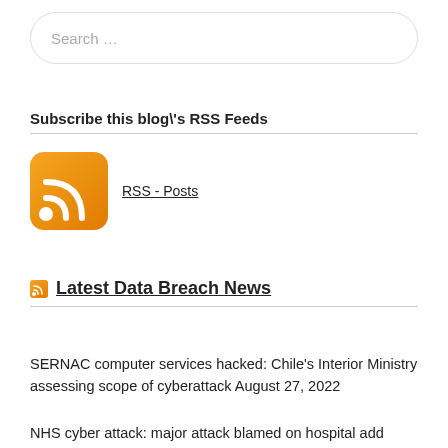Search …
Subscribe this blog\'s RSS Feeds
[Figure (logo): RSS feed icon (orange rounded square with white RSS symbol) linked as RSS - Posts]
Latest Data Breach News
SERNAC computer services hacked: Chile's Interior Ministry assessing scope of cyberattack August 27, 2022
NHS cyber attack: major attack blamed on hospital add...